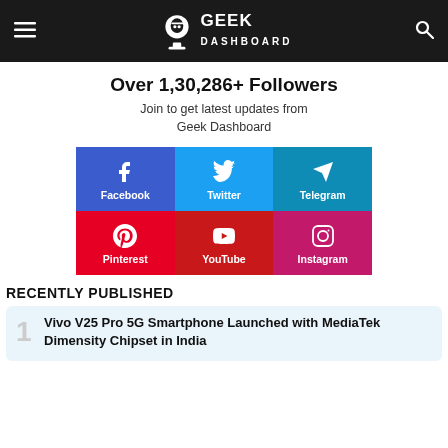GEEK DASHBOARD
Over 1,30,286+ Followers
Join to get latest updates from Geek Dashboard
[Figure (infographic): Social media follow buttons grid: Facebook (blue), Twitter (light blue), Telegram (teal), Pinterest (red), YouTube (red), Instagram (pink/magenta)]
RECENTLY PUBLISHED
1 Vivo V25 Pro 5G Smartphone Launched with MediaTek Dimensity Chipset in India